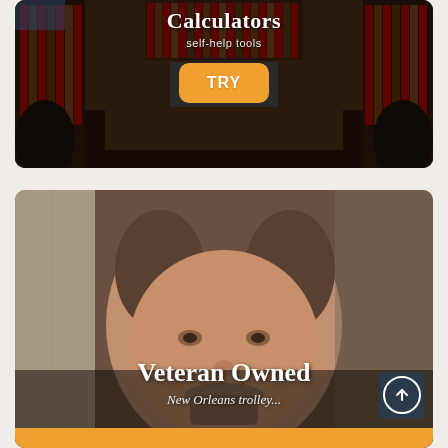[Figure (photo): Law office interior with wooden bookshelves filled with law books, a large wooden desk, leather chairs, and dark ambiance. Text overlay shows 'Calculators' and 'self-help tools' with an orange TRY button.]
Calculators
self-help tools
[Figure (photo): Close-up photo of a middle-aged man with gray-brown hair and a beard, in an office or workshop setting. Text overlay shows 'Veteran Owned' and 'New Orleans trolley...' with an orange button at the bottom and a dark navy scroll-up arrow button in the lower right.]
Veteran Owned
New Orleans trolley...